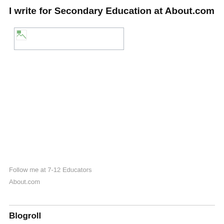I write for Secondary Education at About.com
[Figure (photo): Broken/unloaded image placeholder with small broken image icon]
Follow me at 7-12 Educators
About.com
Blogroll